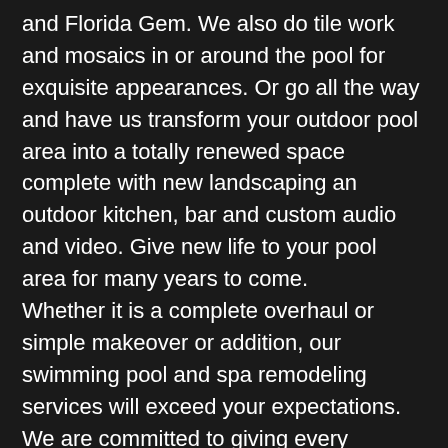and Florida Gem. We also do tile work and mosaics in or around the pool for exquisite appearances. Or go all the way and have us transform your outdoor pool area into a totally renewed space complete with new landscaping an outdoor kitchen, bar and custom audio and video. Give new life to your pool area for many years to come. Whether it is a complete overhaul or simple makeover or addition, our swimming pool and spa remodeling services will exceed your expectations. We are committed to giving every customer our promise of professional service with a personal touch. Your swimming pool can gain new life and character with one of our deluxe features such as a rock or raised